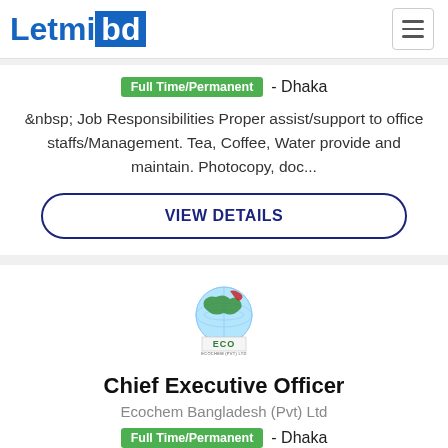Letmibd
Full Time/Permanent - Dhaka
&nbsp; Job Responsibilities Proper assist/support to office staffs/Management. Tea, Coffee, Water provide and maintain. Photocopy, doc...
VIEW DETAILS
[Figure (logo): Ecochem (Pvt) Ltd company logo — globe with ECO text below]
Chief Executive Officer
Ecochem Bangladesh (Pvt) Ltd
Full Time/Permanent - Dhaka